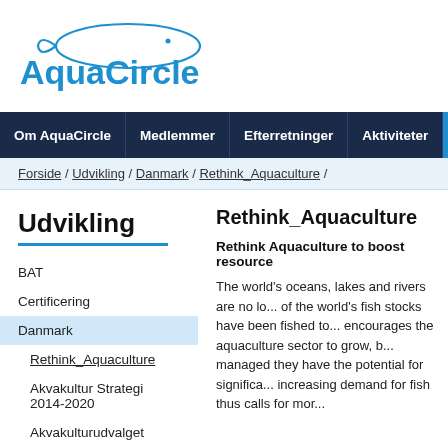[Figure (logo): AquaCircle logo with blue oval/fish shape and blue text 'AquaCircle']
Om AquaCircle | Medlemmer | Efterretninger | Aktiviteter | Udvikli...
Forside / Udvikling / Danmark / Rethink_Aquaculture /
Udvikling
BAT
Certificering
Danmark
Rethink_Aquaculture
Akvakultur Strategi 2014-2020
Akvakulturudvalget
Rethink_Aquaculture
Rethink Aquaculture to boost resource...
The world's oceans, lakes and rivers are no lo... of the world's fish stocks have been fished to... encourages the aquaculture sector to grow, b... managed they have the potential for significa... increasing demand for fish thus calls for mor...